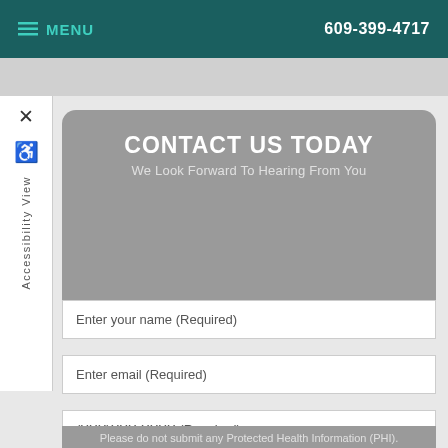MENU | 609-399-4717
[Figure (screenshot): Accessibility View side panel with X close button and wheelchair icon]
CONTACT US TODAY
We Look Forward To Hearing From You
Enter your name (Required)
Enter email (Required)
(XXX)XXX-XXXX (Required)
Notes to the Doctor
Please do not submit any Protected Health Information (PHI).